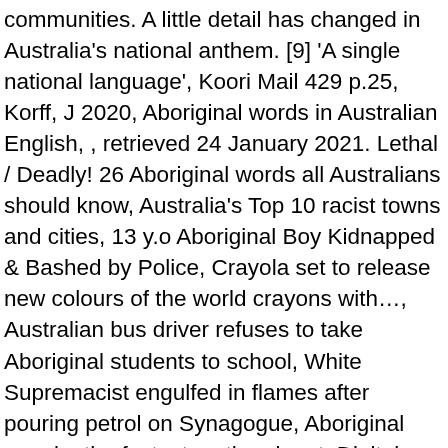communities. A little detail has changed in Australia's national anthem. [9] 'A single national language', Koori Mail 429 p.25, Korff, J 2020, Aboriginal words in Australian English, , retrieved 24 January 2021. Lethal / Deadly! 26 Aboriginal words all Australians should know, Australia's Top 10 racist towns and cities, 13 y.o Aboriginal Boy Kidnapped & Bashed by Police, Crayola set to release new colours of the world crayons with…, Australian bus driver refuses to take Aboriginal students to school, White Supremacist engulfed in flames after pouring petrol on Synagogue, Aboriginal people: the fastest on the planet, Digital Genocide: Ash Barty's race repeatedly removed by modern day colonisers, Australian Rugby Union finds winning formula through Indigenous pride, Watch: 16 y.o Indigenous girl's massive Rugby hit, Aboriginal artists who went viral on social media, Australia's National Anthem: a white supremacist song, 'We made a huge mistake' Uluru climb will stay open for…, UN calls for complete closure of regional Australia. Deadly: Is not an Aboriginal word however it has taken its own meaning among Aboriginal society. Creative